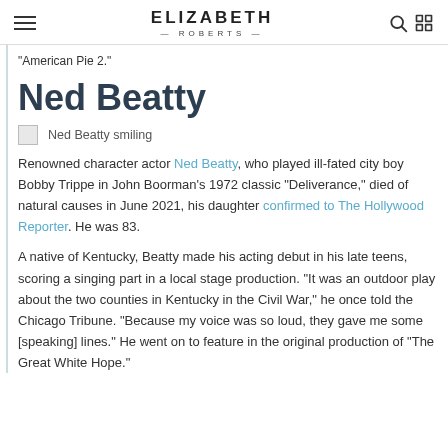ELIZABETH ROBERTS
"American Pie 2."
Ned Beatty
[Figure (photo): Broken image placeholder with caption: Ned Beatty smiling]
Renowned character actor Ned Beatty, who played ill-fated city boy Bobby Trippe in John Boorman's 1972 classic "Deliverance," died of natural causes in June 2021, his daughter confirmed to The Hollywood Reporter. He was 83.
A native of Kentucky, Beatty made his acting debut in his late teens, scoring a singing part in a local stage production. "It was an outdoor play about the two counties in Kentucky in the Civil War," he once told the Chicago Tribune. "Because my voice was so loud, they gave me some [speaking] lines." He went on to feature in the original production of "The Great White Hope."